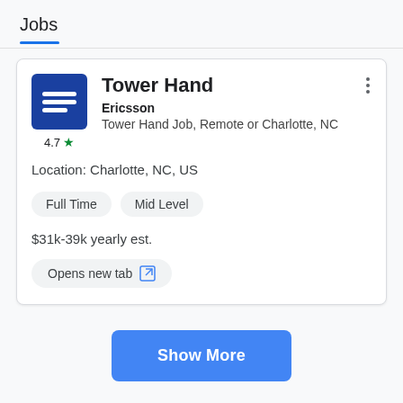Jobs
Tower Hand
Ericsson
Tower Hand Job, Remote or Charlotte, NC
Location: Charlotte, NC, US
Full Time  Mid Level
$31k-39k yearly est.
Opens new tab
4.7 ★
Show More